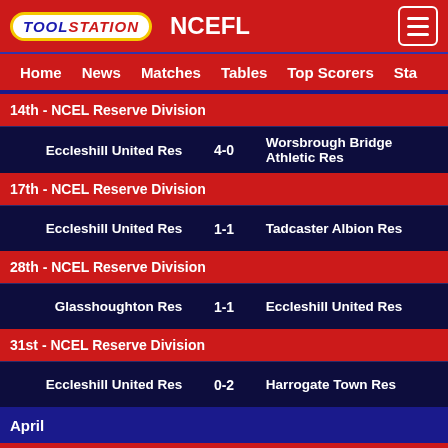TOOLSTATION NCEFL
Home | News | Matches | Tables | Top Scorers | Sta...
14th - NCEL Reserve Division
| Home | Score | Away |
| --- | --- | --- |
| Eccleshill United Res | 4-0 | Worsbrough Bridge Athletic Res |
17th - NCEL Reserve Division
| Home | Score | Away |
| --- | --- | --- |
| Eccleshill United Res | 1-1 | Tadcaster Albion Res |
28th - NCEL Reserve Division
| Home | Score | Away |
| --- | --- | --- |
| Glasshoughton Res | 1-1 | Eccleshill United Res |
31st - NCEL Reserve Division
| Home | Score | Away |
| --- | --- | --- |
| Eccleshill United Res | 0-2 | Harrogate Town Res |
April
4th - NCEL Reserve Division